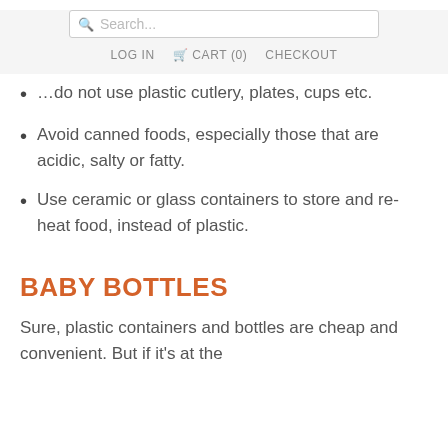Search... LOG IN  CART (0)  CHECKOUT
…do not use plastic cutlery, plates, cups etc.
Avoid canned foods, especially those that are acidic, salty or fatty.
Use ceramic or glass containers to store and re-heat food, instead of plastic.
BABY BOTTLES
Sure, plastic containers and bottles are cheap and convenient. But if it's at the